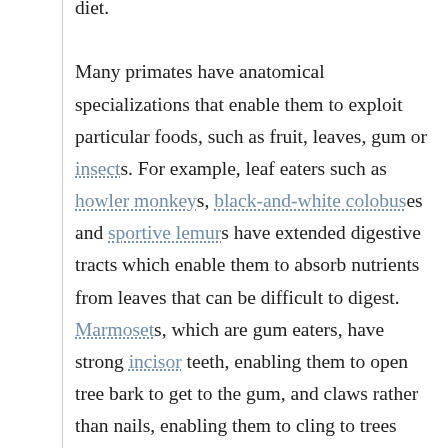diet. Many primates have anatomical specializations that enable them to exploit particular foods, such as fruit, leaves, gum or insects. For example, leaf eaters such as howler monkeys, black-and-white colobuses and sportive lemurs have extended digestive tracts which enable them to absorb nutrients from leaves that can be difficult to digest. Marmosets, which are gum eaters, have strong incisor teeth, enabling them to open tree bark to get to the gum, and claws rather than nails, enabling them to cling to trees while feeding. The aye-aye combines rodent-like teeth with a long, thin middle finger to fill the same ecological niche as a woodpecker. It taps on trees to find insect larvae, then gnaws holes in the wood and inserts its